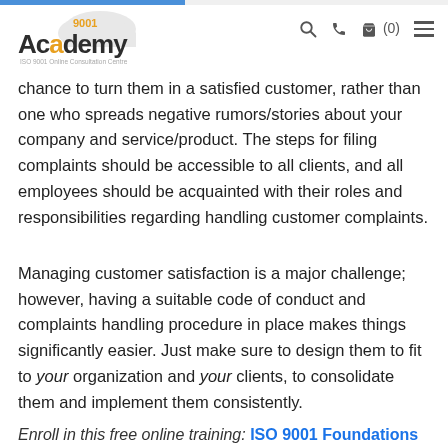9001Academy — ISO 9001 Online Consultation Centre header with navigation icons
chance to turn them in a satisfied customer, rather than one who spreads negative rumors/stories about your company and service/product. The steps for filing complaints should be accessible to all clients, and all employees should be acquainted with their roles and responsibilities regarding handling customer complaints.
Managing customer satisfaction is a major challenge; however, having a suitable code of conduct and complaints handling procedure in place makes things significantly easier. Just make sure to design them to fit to your organization and your clients, to consolidate them and implement them consistently.
Enroll in this free online training: ISO 9001 Foundations